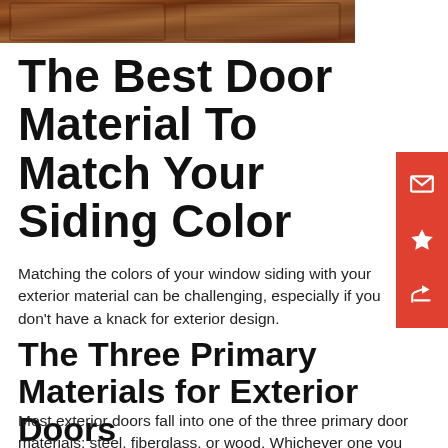[Figure (photo): Wooden exterior door panel, warm brown tones, partial view at top of page]
The Best Door Material To Match Your Siding Color
Matching the colors of your window siding with your exterior material can be challenging, especially if you don't have a knack for exterior design.
The Three Primary Materials for Exterior Doors
Most exterior doors fall into one of the three primary door materials: steel, fiberglass, or wood. Whichever one you choose is entirely based on your preferences.
These door materials come in various colors and designs on the